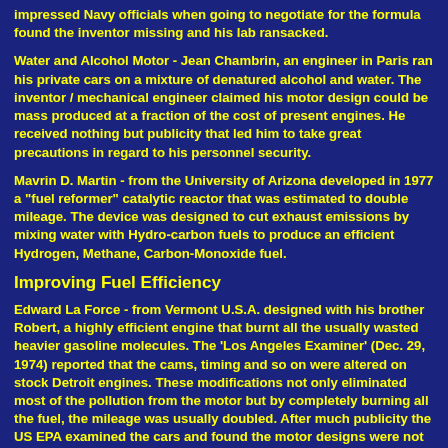impressed Navy officials when going to negotiate for the formula found the inventor missing and his lab ransacked.
Water and Alcohol Motor - Jean Chambrin, an engineer in Paris ran his private cars on a mixture of denatured alcohol and water. The inventor / mechanical engineer claimed his motor design could be mass produced at a fraction of the cost of present engines. He received nothing but publicity that led him to take great precautions in regard to his personnel security.
Mavrin D. Martin - from the University of Arizona developed in 1977 a "fuel reformer" catalytic reactor that was estimated to double mileage. The device was designed to cut exhaust emissions by mixing water with Hydro-carbon fuels to produce an efficient Hydrogen, Methane, Carbon-Monoxide fuel.
Improving Fuel Efficiency
Edward La Force - from Vermont U.S.A. designed with his brother Robert, a highly efficient engine that burnt all the usually wasted heavier gasoline molecules. The 'Los Angeles Examiner' (Dec. 29, 1974) reported that the cams, timing and so on were altered on stock Detroit engines. These modifications not only eliminated most of the pollution from the motor but by completely burning all the fuel, the mileage was usually doubled. After much publicity the US EPA examined the cars and found the motor designs were not good enough. Few people believed the EPA including a number of Senators who brought up the matter in a Congressional hearing in March 1975. The result was still silence.
Eric Cottell - was one of the pioneers of ultrasonic fuel systems. This involved using sonic transducers to 'vibrate' existing fuels down to much smaller